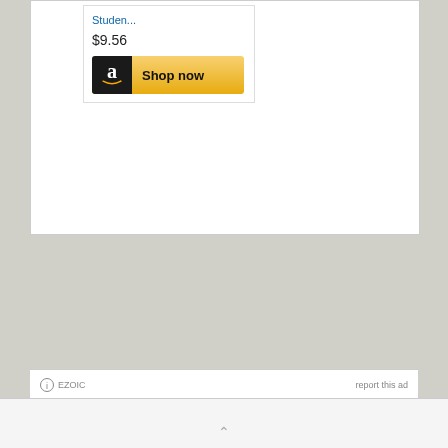Studen...
$9.56
[Figure (logo): Amazon Shop now button with Amazon logo on dark background and gold/yellow gradient]
report this ad